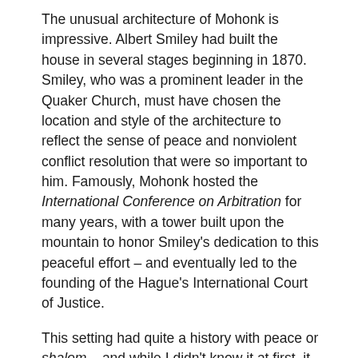The unusual architecture of Mohonk is impressive. Albert Smiley had built the house in several stages beginning in 1870. Smiley, who was a prominent leader in the Quaker Church, must have chosen the location and style of the architecture to reflect the sense of peace and nonviolent conflict resolution that were so important to him. Famously, Mohonk hosted the International Conference on Arbitration for many years, with a tower built upon the mountain to honor Smiley's dedication to this peaceful effort – and eventually led to the founding of the Hague's International Court of Justice.
This setting had quite a history with peace or shalom – and while I didn't know it at first, it would become the perfect inspiration for the launch of a Christian men's group in my home city of peace, Winston-Salem.
So how did I end up at Mohonk?